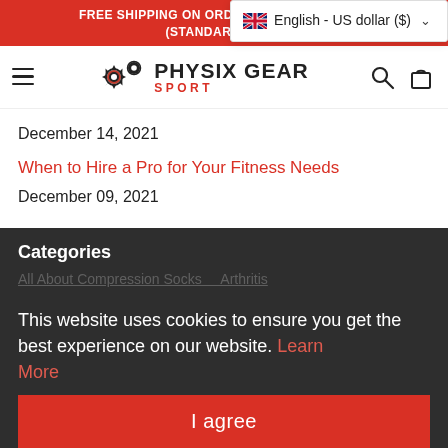FREE SHIPPING ON ORDERS $50 AND ABOVE* (STANDARD SHIPPING)
[Figure (logo): Language selector popup: UK flag icon, English - US dollar ($) with dropdown chevron]
[Figure (logo): Physix Gear Sport logo with gear icon and brand name]
December 14, 2021
When to Hire a Pro for Your Fitness Needs
December 09, 2021
Categories
This website uses cookies to ensure you get the best experience on our website. Learn More
All About Compression Socks   Arthritis
Beginner Product Guides
I agree